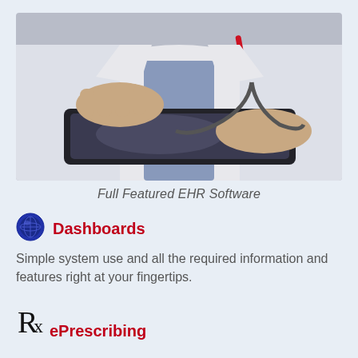[Figure (photo): Close-up photo of a doctor in a white coat with a stethoscope, using a tablet device. A red pen is visible in the coat pocket.]
Full Featured EHR Software
Dashboards
Simple system use and all the required information and features right at your fingertips.
ePrescribing